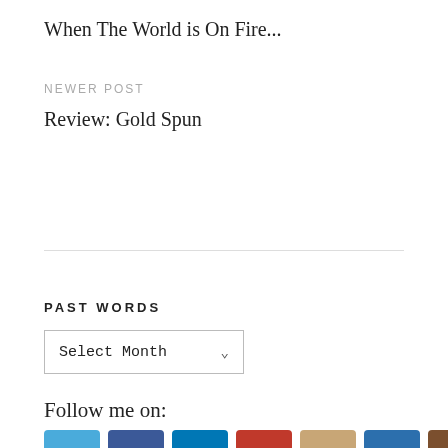When The World is On Fire...
NEWER POST
Review: Gold Spun
PAST WORDS
Select Month
Follow me on:
[Figure (illustration): Row of social media icon buttons: Twitter (blue bird), Facebook (blue f), LinkedIn (blue in), Pinterest (red P), Instagram (tan camera), Email (blue envelope), Goodreads (brown g)]